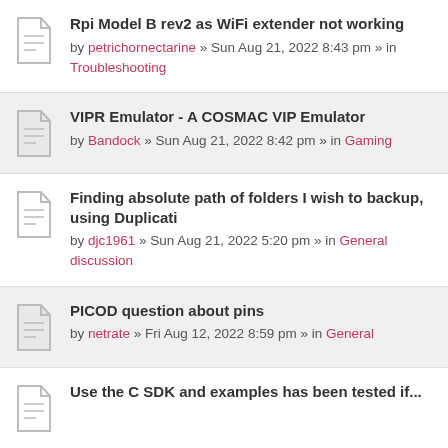Rpi Model B rev2 as WiFi extender not working by petrichornectarine » Sun Aug 21, 2022 8:43 pm » in Troubleshooting
VIPR Emulator - A COSMAC VIP Emulator by Bandock » Sun Aug 21, 2022 8:42 pm » in Gaming
Finding absolute path of folders I wish to backup, using Duplicati by djc1961 » Sun Aug 21, 2022 5:20 pm » in General discussion
PICOD question about pins by netrate » Fri Aug 12, 2022 8:59 pm » in General
Use the C SDK and examples has been tested if...